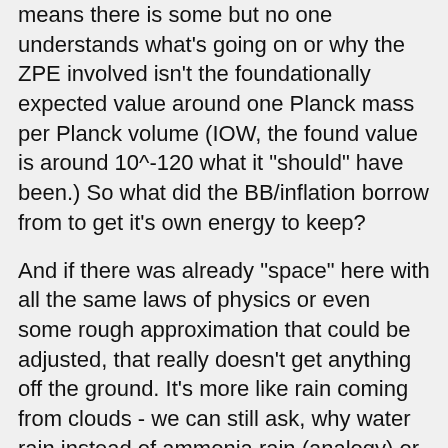means there is some but no one understands what's going on or why the ZPE involved isn't the foundationally expected value around one Planck mass per Planck volume (IOW, the found value is around 10^-120 what it "should" have been.) So what did the BB/inflation borrow from to get it's own energy to keep?
And if there was already "space" here with all the same laws of physics or even some rough approximation that could be adjusted, that really doesn't get anything off the ground. It's more like rain coming from clouds - we can still ask, why water rain instead of ammonia rain (analogy) or classical rain or rain of other laws etc.
Note that QM is already enigmatic and we don't even understand how a distributed wave function can lead to a specific exclusionary click, with many arguments over how to "interpret" the actual results. Trying to feed that into something even less understood is a recipe for massive confusion. Also, if the MWI type idea is right there aren't any fluctuations anyway, all the WFs